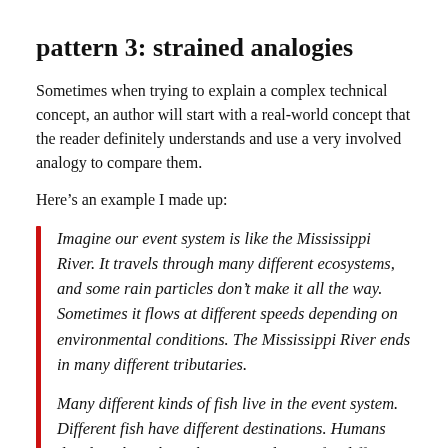pattern 3: strained analogies
Sometimes when trying to explain a complex technical concept, an author will start with a real-world concept that the reader definitely understands and use a very involved analogy to compare them.
Here’s an example I made up:
Imagine our event system is like the Mississippi River. It travels through many different ecosystems, and some rain particles don’t make it all the way. Sometimes it flows at different speeds depending on environmental conditions. The Mississippi River ends in many different tributaries.
Many different kinds of fish live in the event system. Different fish have different destinations. Humans decide to live along the river and use it for different purposes. They construct dams to control the flow.
This example is a parody, but I always find this type of analogy confusing because I end up wasting a lot of time trying to analyze exactly how an event stream is different / the